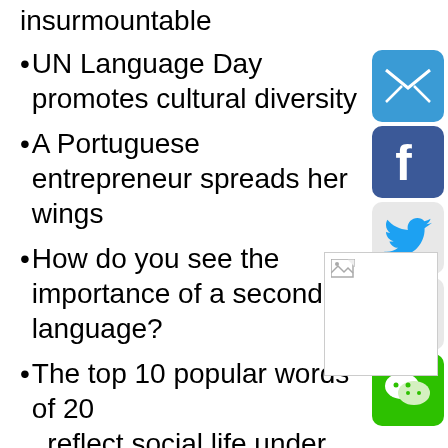insurmountable
UN Language Day promotes cultural diversity
A Portuguese entrepreneur spreads her wings
How do you see the importance of a second language?
The top 10 popular words of 20__ reflect social life under the epidemic
[Figure (infographic): Social media share icons: email (blue envelope), Facebook (blue f), Twitter (bird on light background), Weibo (red logo on light background), WeChat (green logo), and a broken image placeholder at bottom right]